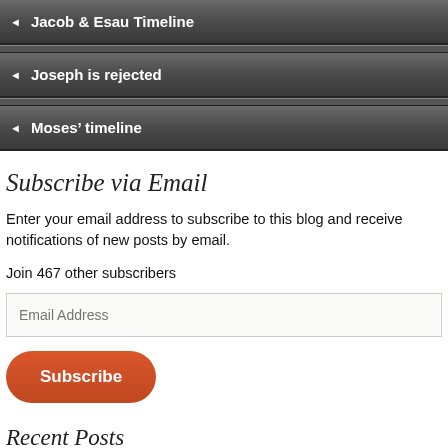◄ Jacob & Esau Timeline
◄ Joseph is rejected
◄ Moses' timeline
Subscribe via Email
Enter your email address to subscribe to this blog and receive notifications of new posts by email.
Join 467 other subscribers
Email Address
Subscribe
Recent Posts